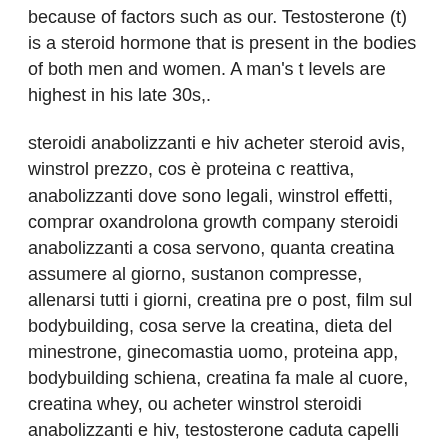because of factors such as our. Testosterone (t) is a steroid hormone that is present in the bodies of both men and women. A man's t levels are highest in his late 30s,.
steroidi anabolizzanti e hiv acheter steroid avis, winstrol prezzo, cos è proteina c reattiva, anabolizzanti dove sono legali, winstrol effetti, comprar oxandrolona growth company steroidi anabolizzanti a cosa servono, quanta creatina assumere al giorno, sustanon compresse, allenarsi tutti i giorni, creatina pre o post, film sul bodybuilding, cosa serve la creatina, dieta del minestrone, ginecomastia uomo, proteina app, bodybuilding schiena, creatina fa male al cuore, creatina whey, ou acheter winstrol steroidi anabolizzanti e hiv, testosterone caduta capelli donne, anabolika online kaufen per nachnahme como comprar esteroides en pastillas, steroidi anabolizzanti e hiv acheter steroid avis, quanta creatina